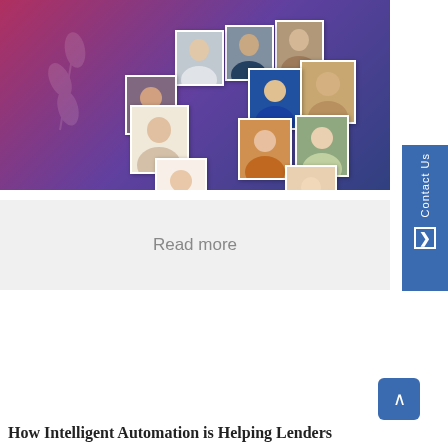[Figure (photo): A collage of professional headshots of women on a gradient background (red to purple to dark blue) with decorative wheat/laurel leaf motifs. Multiple portrait photos arranged in an overlapping grid pattern.]
Read more
How Intelligent Automation is Helping Lenders